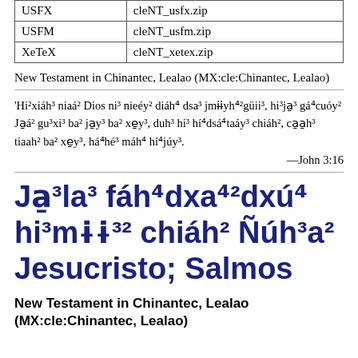| USFX | cleNT_usfx.zip |
| USFM | cleNT_usfm.zip |
| XeTeX | cleNT_xetex.zip |
New Testament in Chinantec, Lealao (MX:cle:Chinantec, Lealao)
'Hi²xiáh³ niaá² Dios ni³ nieéy² diáh⁴ dsa³ jmɨɨyh⁴²güii³, hi³ja̱³ gá⁴cuóy² Ja̱á² gu³xi³ ba² ja̱y³ ba² xe̱y³, duh³ hi³ hí⁴dsá⁴taáy³ chiáh², ca̱a̱h³ tiaah² ba² xe̱y³, há⁴hé³ máh⁴ hí⁴júy³.
—John 3:16
Ja̱³la³ fáh⁴dxa⁴²dxú⁴ hi³mɨɨ³² chiáh² Ñúh³a² Jesucristo; Salmos
New Testament in Chinantec, Lealao (MX:cle:Chinantec, Lealao)